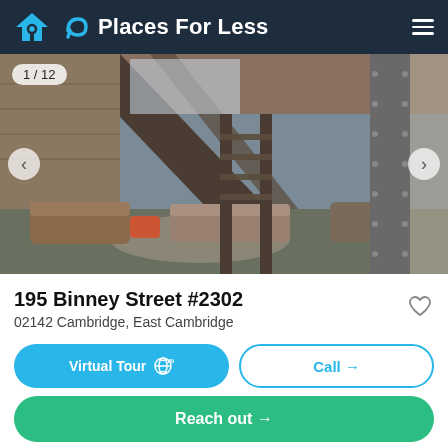Places For Less
[Figure (photo): Interior photo of a loft-style apartment common area with exposed beams, industrial staircase, brick walls, and modern furniture. Counter shows 1/12.]
195 Binney Street #2302
02142 Cambridge, East Cambridge
Virtual Tour 360°
Call →
Reach out →